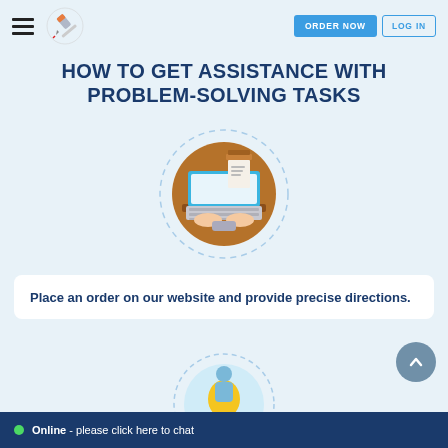HOW TO GET ASSISTANCE WITH PROBLEM-SOLVING TASKS
HOW TO GET ASSISTANCE WITH PROBLEM-SOLVING TASKS
[Figure (illustration): Circular illustration of hands typing on a laptop with papers in background]
Place an order on our website and provide precise directions.
[Figure (illustration): Partial circular illustration of a person with a lightbulb]
Online - please click here to chat